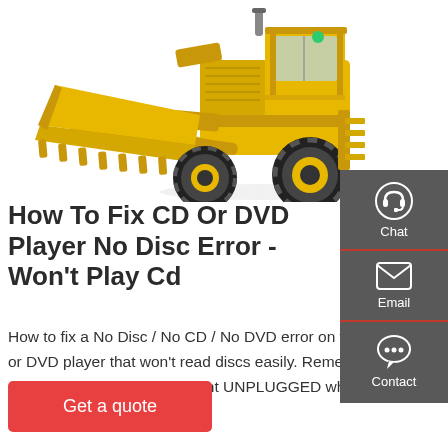[Figure (photo): Yellow front loader / bulldozer construction vehicle with large bucket raised, photographed on white background]
How To Fix CD Or DVD Player No Disc Error - Won't Play Cd
How to fix a No Disc / No CD / No DVD error on your CD or DVD player that won't read discs easily. Remember to ALWAYS keep your equipment UNPLUGGED while re
[Figure (infographic): Dark gray sidebar with three icons and labels: Chat (headset icon), Email (envelope icon), Contact (speech bubble icon), separated by red dividers]